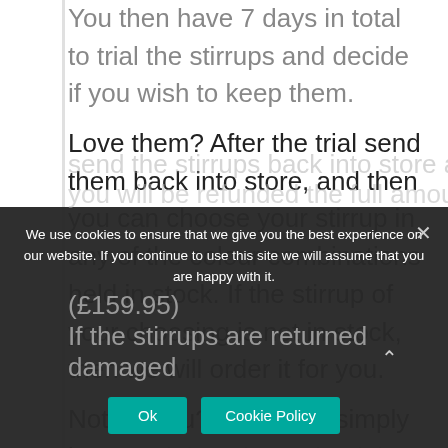You then have 7 days in total to trial the stirrups and decide if you wish to keep them.
Love them? After the trial send them back into store, and then you can choose your stirrup in any of the colour combinations held in stock. If the stirrup of your choosing is not in stock, then we will order it for you.
Not for you? That's ok, simply just send the stirrups back into store and you will be refunded the full amount (£159.95).
If the stirrups are returned damaged
We use cookies to ensure that we give you the best experience on our website. If you continue to use this site we will assume that you are happy with it.